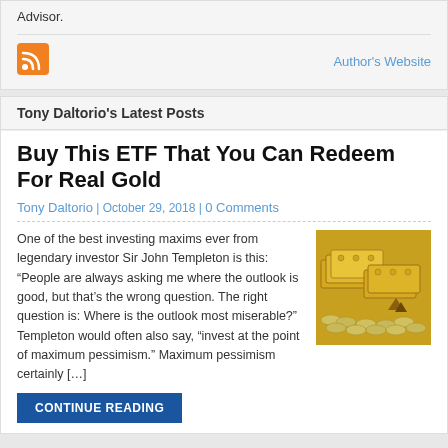Advisor.
[Figure (logo): RSS feed icon (orange square with white RSS symbol)]
Author's Website
Tony Daltorio's Latest Posts
Buy This ETF That You Can Redeem For Real Gold
Tony Daltorio | October 29, 2018 | 0 Comments
One of the best investing maxims ever from legendary investor Sir John Templeton is this: “People are always asking me where the outlook is good, but that’s the wrong question. The right question is: Where is the outlook most miserable?” Templeton would often also say, “invest at the point of maximum pessimism.” Maximum pessimism certainly […]
[Figure (photo): Photo of gold bars and coins stacked together]
CONTINUE READING